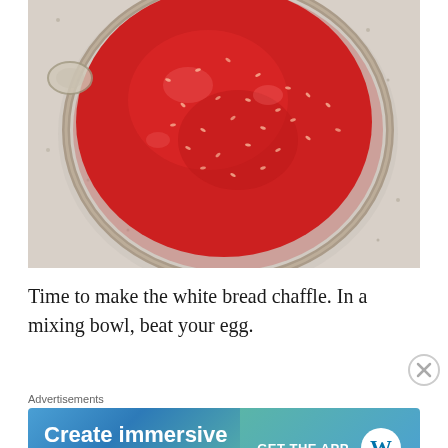[Figure (photo): Overhead view of a glass mixing bowl containing red strawberry jam or pureed strawberries on a granite countertop. The bowl is clear glass with a round shape, and the red mixture has visible seeds throughout.]
Time to make the white bread chaffle. In a mixing bowl, beat your egg.
Advertisements
[Figure (other): Advertisement banner for WordPress app. Left side shows teal/blue gradient background with white bold text 'Create immersive stories.' Right side shows 'GET THE APP' text and the WordPress logo (white circle with W).]